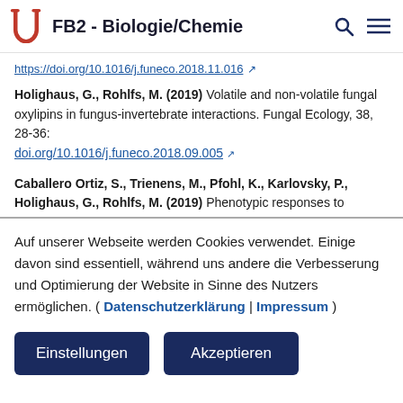FB2 - Biologie/Chemie
https://doi.org/10.1016/j.funeco.2018.11.016
Holighaus, G., Rohlfs, M. (2019) Volatile and non-volatile fungal oxylipins in fungus-invertebrate interactions. Fungal Ecology, 38, 28-36: doi.org/10.1016/j.funeco.2018.09.005
Caballero Ortiz, S., Trienens, M., Pfohl, K., Karlovsky, P., Holighaus, G., Rohlfs, M. (2019) Phenotypic responses to…
Auf unserer Webseite werden Cookies verwendet. Einige davon sind essentiell, während uns andere die Verbesserung und Optimierung der Website in Sinne des Nutzers ermöglichen. ( Datenschutzerklärung | Impressum )
Einstellungen
Akzeptieren